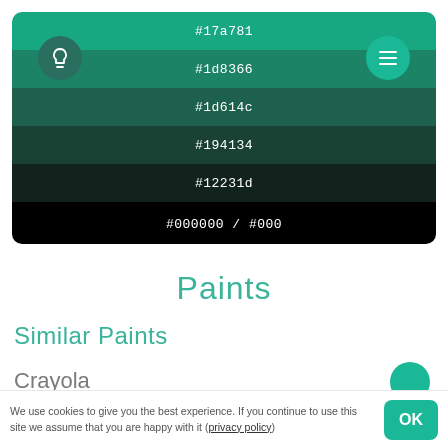[Figure (infographic): Color swatch panel showing a gradient from teal/green (#17a781) to black (#000000) in 6 horizontal strips, with a lightbulb icon on the left and a menu hamburger icon on the right]
#17a781
#1d8366
#1d614c
#194134
#12231d
#000000 / #000
Paints
Similar Paints
Crayola
We use cookies to give you the best experience. If you continue to use this site we assume that you are happy with it (privacy policy)